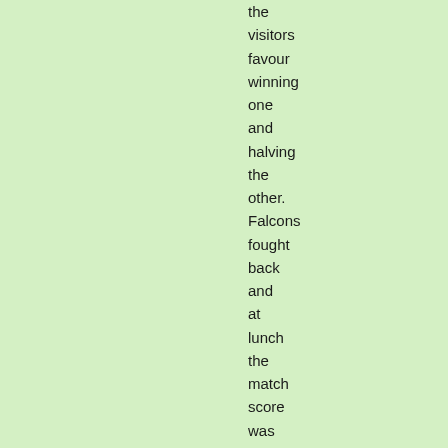the visitors favour winning one and halving the other. Falcons fought back and at lunch the match score was 6.5 to 3.5 Pendle. Still all to play for.

Over